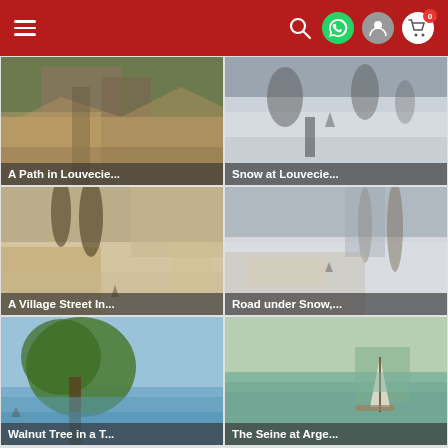Navigation header with hamburger menu, search, WhatsApp, user, and cart icons
[Figure (photo): Impressionist painting: A Path in Louveciennes, pathway with stone wall and buildings]
A Path in Louvecie...
[Figure (photo): Impressionist painting: Snow at Louveciennes, snowy winter scene with figure]
Snow at Louvecie...
[Figure (photo): Impressionist painting: A Village Street In..., winter street with bare trees and figures]
A Village Street In...
[Figure (photo): Impressionist painting: Road under Snow,..., snowy road with trees and buildings]
Road under Snow,...
[Figure (photo): Impressionist painting: Walnut Tree in a T..., large walnut tree by a river]
Walnut Tree in a T...
[Figure (photo): Impressionist painting: The Seine at Arge..., sailboat on river Seine]
The Seine at Arge...